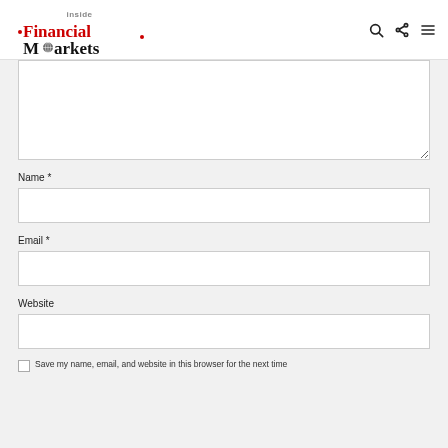Inside Financial Markets
Name *
Email *
Website
Save my name, email, and website in this browser for the next time